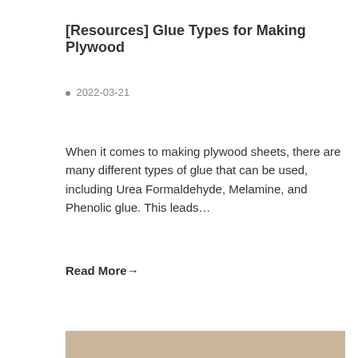[Resources] Glue Types for Making Plywood
◻ 2022-03-21
When it comes to making plywood sheets, there are many different types of glue that can be used, including Urea Formaldehyde, Melamine, and Phenolic glue. This leads…
Read More→
[Figure (photo): Bottom strip showing edge of a photograph, appears to be a wood or plywood related image]